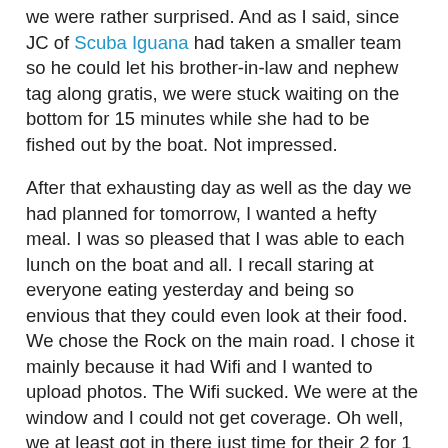we were rather surprised.  And as I said, since JC of Scuba Iguana had taken a smaller team so he could let his brother-in-law and nephew tag along gratis, we were stuck waiting on the bottom for 15 minutes while she had to be fished out by the boat.  Not impressed.
After that exhausting day as well as the day we had planned for tomorrow, I wanted a hefty meal.  I was so pleased that I was able to each lunch on the boat and all.  I recall staring at everyone eating yesterday and being so envious that they could even look at their food.  We chose the Rock on the main road.  I chose it mainly because it had Wifi and I wanted to upload photos.  The Wifi sucked.  We were at the window and I could not get coverage. Oh well, we at least got in there just time for their 2 for 1 Mojito special.  They were strong! Or I was tired!
I had the Linguini with Galapagos Lobster with a Coconut sauce.  I ordered it for the belly full of starch and the intrigue.  It was very good but it was a bit cloying by the end since the sauce was a tad on the dry side and continued to dry out.  Still, I enjoyed it.  D got a mixed grill with every